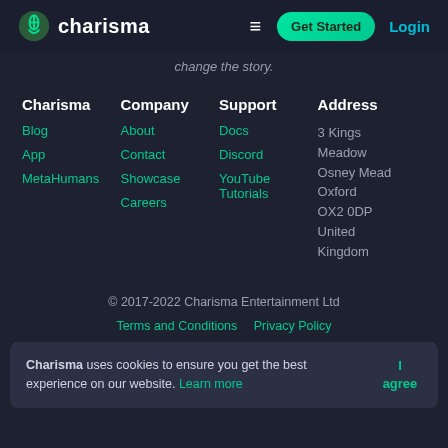charisma | Get Started | Login
change the story.
Charisma
Blog
App
MetaHumans
Company
About
Contact
Showcase
Careers
Support
Docs
Discord
YouTube Tutorials
Address
3 Kings Meadow Osney Mead Oxford OX2 0DP United Kingdom
© 2017-2022 Charisma Entertainment Ltd
Terms and Conditions   Privacy Policy
Charisma uses cookies to ensure you get the best experience on our website. Learn more   I agree